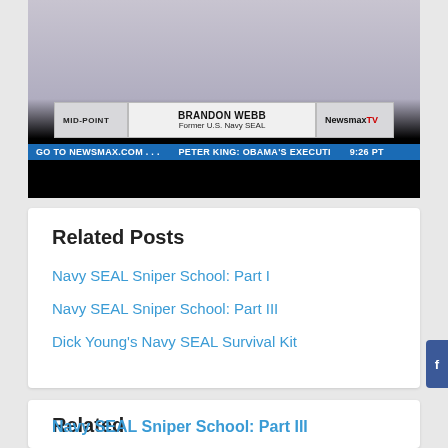[Figure (screenshot): Newsmax TV screenshot showing Brandon Webb, Former U.S. Navy SEAL, on the Mid-Point program. Ticker reads: GO TO NEWSMAX.COM ... PETER KING: OBAMA'S EXECUTI. Time shown: 9:26 PT]
Related Posts
Navy SEAL Sniper School: Part I
Navy SEAL Sniper School: Part III
Dick Young's Navy SEAL Survival Kit
Related
Navy SEAL Sniper School: Part III